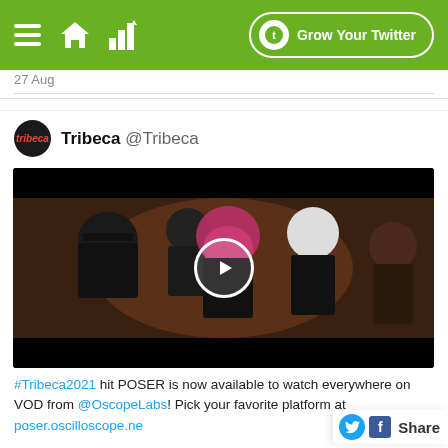Grow Your Twitter
27 Aug
Tribeca @Tribeca
[Figure (screenshot): Video thumbnail showing a group of five young people dressed in black in a dimly lit room. A woman with pink hair is at the center. A white play button circle is overlaid in the center of the image.]
#Tribeca2021 hit POSER is now available to watch everywhere on VOD from @OscopeLabs! Pick your favorite platform at poser.oscilloscope.ne